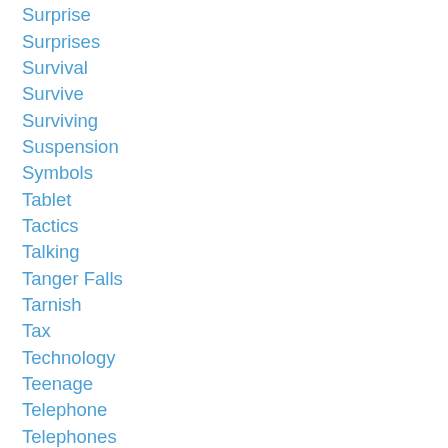Surprise
Surprises
Survival
Survive
Surviving
Suspension
Symbols
Tablet
Tactics
Talking
Tanger Falls
Tarnish
Tax
Technology
Teenage
Telephone
Telephones
Television
Temptation
Ten
Tendinitis